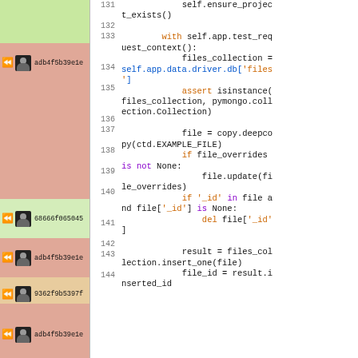[Figure (screenshot): Git blame view of Python source code showing lines 131-144. Left column shows colored blame annotations with commit hashes (adb4f5b39e1e, 68666f065045, 9362f9b5397f) and user avatars. Right side shows line numbers and syntax-highlighted Python code including a with block using self.app.test_request_context(), file collection operations, assert isinstance, copy.deepcopy, file update and insert operations.]